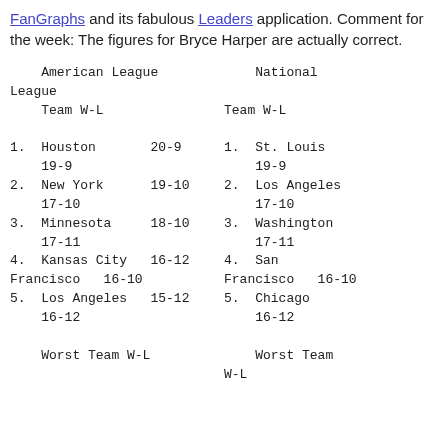FanGraphs and its fabulous Leaders application. Comment for the week: The figures for Bryce Harper are actually correct.
| American League Team W-L | National League Team W-L |
| --- | --- |
| 1. Houston   20-9 | 1. St. Louis   19-9 |
| 2. New York  19-10 | 2. Los Angeles  17-10 |
| 3. Minnesota 18-10 | 3. Washington  17-11 |
| 4. Kansas City 16-12 | 4. San Francisco  16-10 |
| 5. Los Angeles 15-12 | 5. Chicago  16-12 |
| Worst Team W-L | Worst Team W-L |